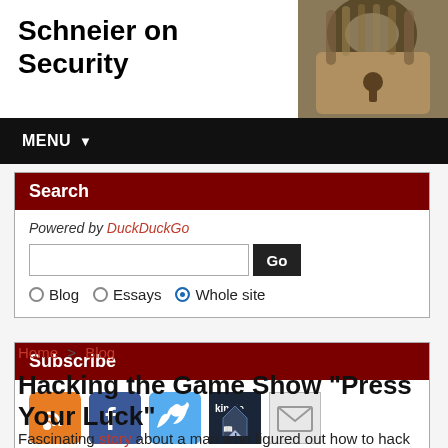Schneier on Security
MENU
Search
Powered by DuckDuckGo
Subscribe
Home > Blog
Hacking the Game Show "Press Your Luck"
Fascinating story about a man who figured out how to hack